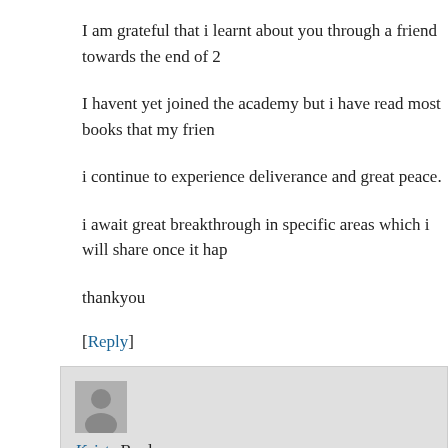I am grateful that i learnt about you through a friend towards the end of 2
I havent yet joined the academy but i have read most books that my frien
i continue to experience deliverance and great peace.
i await great breakthrough in specific areas which i will share once it hap
thankyou
[Reply]
Kristy Reply:
March 2nd, 2018 at 6:07 am

Hi there, please be careful, don't read those materials your friend has sh share them unless she got permission from Bro Elisha, we are only allow